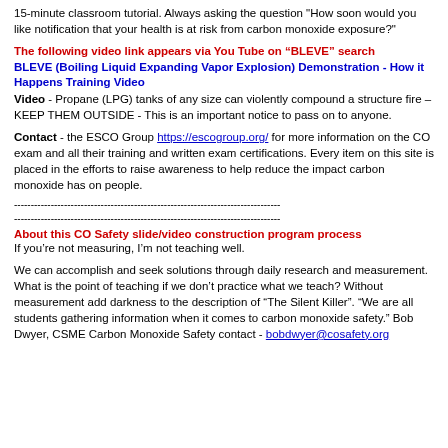15-minute classroom tutorial. Always asking the question "How soon would you like notification that your health is at risk from carbon monoxide exposure?"
The following video link appears via You Tube on “BLEVE” search BLEVE (Boiling Liquid Expanding Vapor Explosion) Demonstration - How it Happens Training Video
Video - Propane (LPG) tanks of any size can violently compound a structure fire – KEEP THEM OUTSIDE - This is an important notice to pass on to anyone.
Contact - the ESCO Group https://escogroup.org/ for more information on the CO exam and all their training and written exam certifications. Every item on this site is placed in the efforts to raise awareness to help reduce the impact carbon monoxide has on people.
--------------------------------------------------------------------------------
--------------------------------------------------------------------------------
About this CO Safety slide/video construction program process
If you’re not measuring, I’m not teaching well.
We can accomplish and seek solutions through daily research and measurement. What is the point of teaching if we don’t practice what we teach? Without measurement add darkness to the description of "The Silent Killer". "We are all students gathering information when it comes to carbon monoxide safety." Bob Dwyer, CSME Carbon Monoxide Safety contact - bobdwyer@cosafety.org